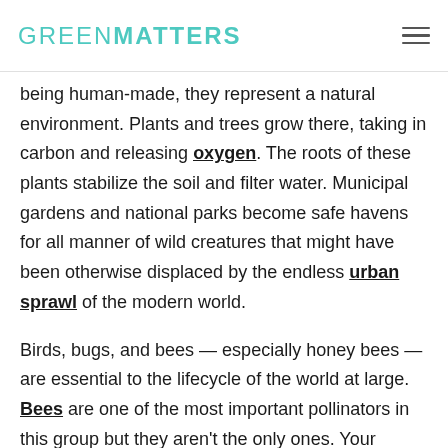GREENMATTERS
being human-made, they represent a natural environment. Plants and trees grow there, taking in carbon and releasing oxygen. The roots of these plants stabilize the soil and filter water. Municipal gardens and national parks become safe havens for all manner of wild creatures that might have been otherwise displaced by the endless urban sprawl of the modern world.
Birds, bugs, and bees — especially honey bees — are essential to the lifecycle of the world at large. Bees are one of the most important pollinators in this group but they aren't the only ones. Your backyard garden is bound to have its own native pollinators and your garden is a great